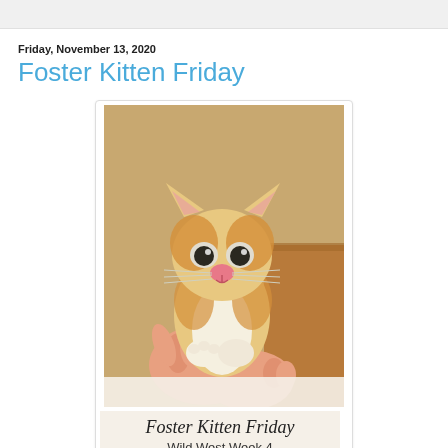Friday, November 13, 2020
Foster Kitten Friday
[Figure (photo): A small orange and white kitten being held in a person's hands, looking directly at the camera. The kitten has big dark eyes, a pink nose, and white whiskers. Below the photo is a caption overlay reading 'Foster Kitten Friday' and 'Wild West Week 4'.]
Foster Kitten Friday
Wild West Week 4